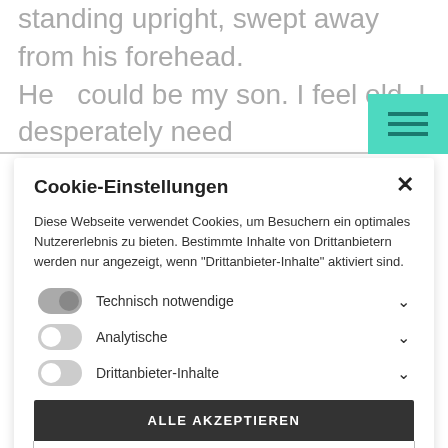standing upright, swept away from his forehead. He could be my son. I feel old. I desperately need to sit down. There's a light blue plastic chair
[Figure (other): Teal/green hamburger menu icon button in top right corner]
Cookie-Einstellungen
Diese Webseite verwendet Cookies, um Besuchern ein optimales Nutzererlebnis zu bieten. Bestimmte Inhalte von Drittanbietern werden nur angezeigt, wenn "Drittanbieter-Inhalte" aktiviert sind.
Technisch notwendige
Analytische
Drittanbieter-Inhalte
ALLE AKZEPTIEREN
SPEICHERN